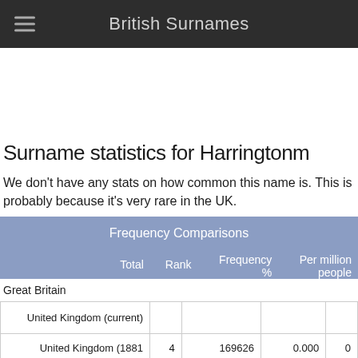British Surnames
Surname statistics for Harringtonm
We don't have any stats on how common this name is. This is probably because it's very rare in the UK.
|  | Total | Rank | Frequency % | Per million people |
| --- | --- | --- | --- | --- |
| Great Britain |  |  |  |  |
| United Kingdom (current) |  |  |  |  |
| United Kingdom (1881 | 4 | 169626 | 0.000 | 0 |